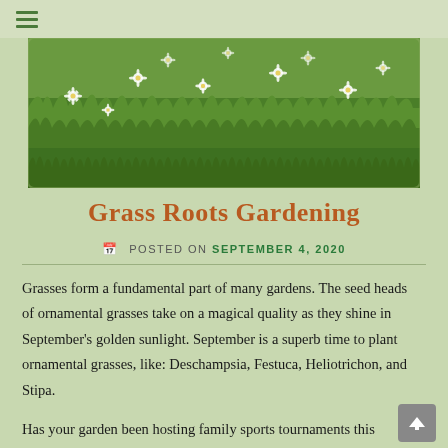[Figure (photo): A lush meadow with green grass and white daisy-like wildflowers scattered throughout, photographed in natural light.]
Grass Roots Gardening
POSTED ON SEPTEMBER 4, 2020
Grasses form a fundamental part of many gardens.  The seed heads of ornamental grasses take on a magical quality as they shine in September's golden sunlight.  September is a superb time to plant ornamental grasses, like: Deschampsia, Festuca, Heliotrichon, and Stipa.
Has your garden been hosting family sports tournaments this summer?  If your grass is worn through in places, it's the perfect time to fill in those bare patches.